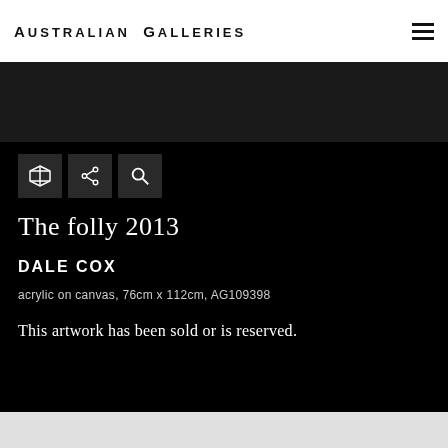Australian Galleries
The folly 2013
DALE COX
acrylic on canvas, 76cm x 112cm, AG109398
This artwork has been sold or is reserved.